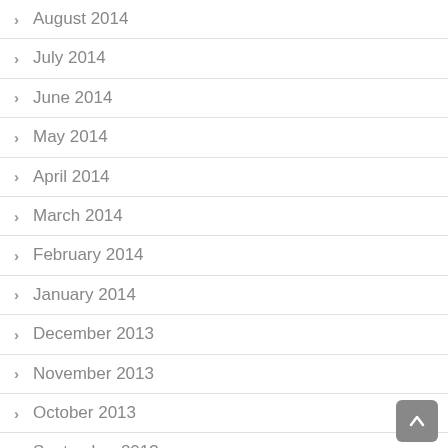August 2014
July 2014
June 2014
May 2014
April 2014
March 2014
February 2014
January 2014
December 2013
November 2013
October 2013
September 2013
August 2013